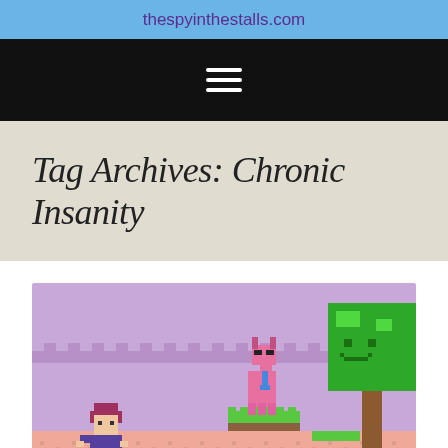thespyinthestalls.com
Tag Archives: Chronic Insanity
[Figure (screenshot): Pixel art video game screenshot showing a female character with purple hair and dress on the left, a pink llama/bull character wearing sunglasses and a tie standing on a green platform in the center, and a pixelated green tree on the right. Background shows a purple sky with stylized clouds and a pink ground.]